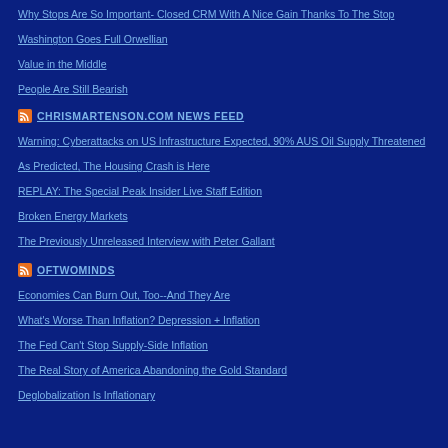Why Stops Are So Important- Closed CRM With A Nice Gain Thanks To The Stop
Washington Goes Full Orwellian
Value in the Middle
People Are Still Bearish
CHRISMARTENSON.COM NEWS FEED
Warning: Cyberattacks on US Infrastructure Expected, 90% AUS Oil Supply Threatened
As Predicted, The Housing Crash is Here
REPLAY: The Special Peak Insider Live Staff Edition
Broken Energy Markets
The Previously Unreleased Interview with Peter Gallant
OFTWOMINDS
Economies Can Burn Out, Too--And They Are
What's Worse Than Inflation? Depression + Inflation
The Fed Can't Stop Supply-Side Inflation
The Real Story of America Abandoning the Gold Standard
Deglobalization Is Inflationary